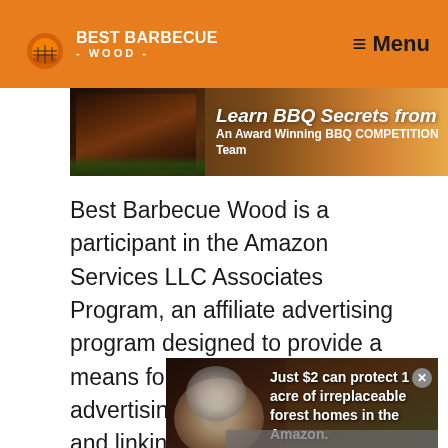BEST BARBECUE - WOOD - | Menu
[Figure (screenshot): Banner advertisement: Learn BBQ Secrets from An Award Winning BBQ COMPETITION Team, with image of BBQ meat on the left]
Best Barbecue Wood is a participant in the Amazon Services LLC Associates Program, an affiliate advertising program designed to provide a means for sites to earn advertising fees by advertising and linking to Amazon.com
[Figure (screenshot): Advertisement overlay: Just $2 can protect 1 acre of irreplaceable forest homes in the Amazon. With a panda/animal image on the left and a 'No compatible source was found for this media' error overlay with an X close button.]